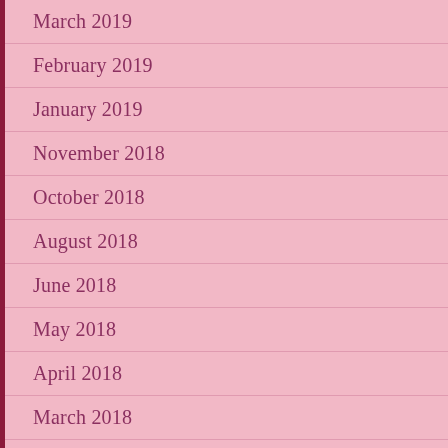March 2019
February 2019
January 2019
November 2018
October 2018
August 2018
June 2018
May 2018
April 2018
March 2018
February 2018
January 2018